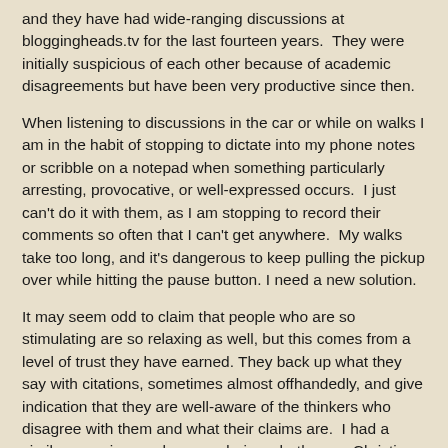and they have had wide-ranging discussions at bloggingheads.tv for the last fourteen years.  They were initially suspicious of each other because of academic disagreements but have been very productive since then.
When listening to discussions in the car or while on walks I am in the habit of stopping to dictate into my phone notes or scribble on a notepad when something particularly arresting, provocative, or well-expressed occurs.  I just can't do it with them, as I am stopping to record their comments so often that I can't get anywhere.  My walks take too long, and it's dangerous to keep pulling the pickup over while hitting the pause button. I need a new solution.
It may seem odd to claim that people who are so stimulating are so relaxing as well, but this comes from a level of trust they have earned. They back up what they say with citations, sometimes almost offhandedly, and give indication that they are well-aware of the thinkers who disagree with them and what their claims are.  I had a similar experience when wondering whether my Christian conversion was a good idea in the mid-70s when reading CS Lewis.  Here was someone who had read all that there was that was pertinent...